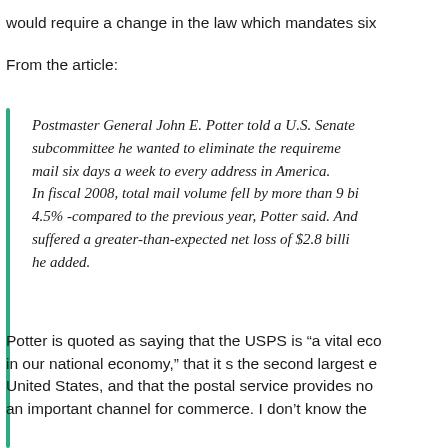would require a change in the law which mandates six
From the article:
Postmaster General John E. Potter told a U.S. Senate subcommittee he wanted to eliminate the requirement to mail six days a week to every address in America. In fiscal 2008, total mail volume fell by more than 9 billion pieces, or 4.5% -compared to the previous year, Potter said. And the postal service suffered a greater-than-expected net loss of $2.8 billion in fiscal 2008, he added.
Potter is quoted as saying that the USPS is “a vital eco in our national economy,” that it s the second largest e United States, and that the postal service provides no an important channel for commerce. I don’t know the